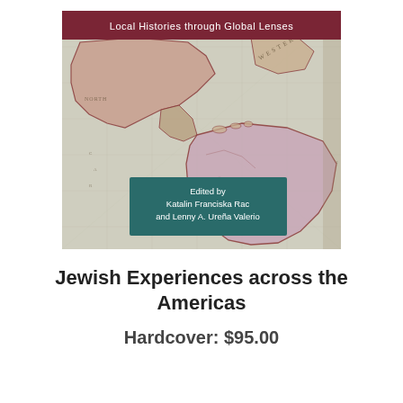[Figure (illustration): Book cover for 'Jewish Experiences across the Americas'. Features a vintage-style map of the Americas in muted greens, pinks, and tans. At the top is a dark red/maroon banner with white text 'Local Histories through Global Lenses'. At the bottom center is a teal/dark green text box with white text reading 'Edited by Katalin Franciska Rac and Lenny A. Ureña Valerio'.]
Jewish Experiences across the Americas
Hardcover: $95.00